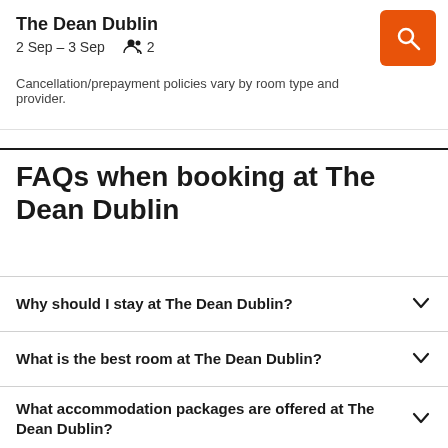The Dean Dublin
2 Sep – 3 Sep   2
Cancellation/prepayment policies vary by room type and provider.
FAQs when booking at The Dean Dublin
Why should I stay at The Dean Dublin?
What is the best room at The Dean Dublin?
What accommodation packages are offered at The Dean Dublin?
What meeting spaces are there at The Dean Dublin?